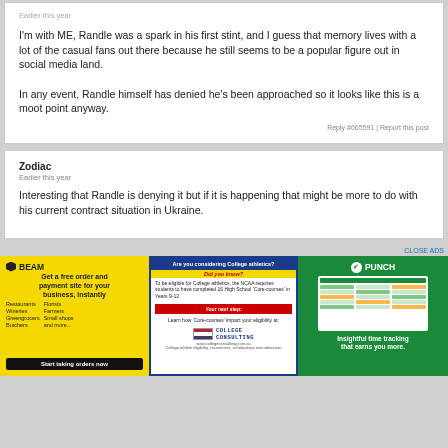I'm with ME, Randle was a spark in his first stint, and I guess that memory lives with a lot of the casual fans out there because he still seems to be a popular figure out in social media land.

In any event, Randle himself has denied he's been approached so it looks like this is a moot point anyway.
Reply #665591 | Report this post
Zodiac
Earlier this year
Interesting that Randle is denying it but if it is happening that might be more to do with his current contract situation in Ukraine.
CLOSE ADS
[Figure (advertisement): BEAM yellow ad - Get a free order and payment site for your business, instantly]
[Figure (advertisement): College Consulting blue ad - Are you considering College athletics?]
[Figure (advertisement): PUNCH green ad - Insightful time tracking that earns you more.]